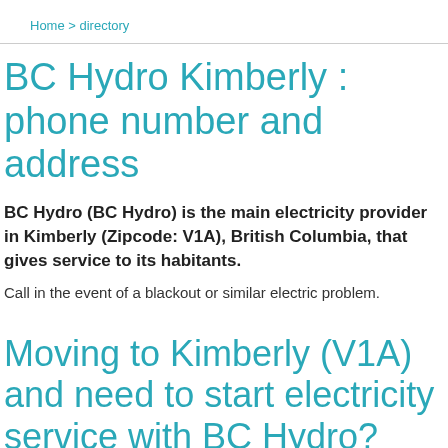Home > directory
BC Hydro Kimberly : phone number and address
BC Hydro (BC Hydro) is the main electricity provider in Kimberly (Zipcode: V1A), British Columbia, that gives service to its habitants.
Call in the event of a blackout or similar electric problem.
Moving to Kimberly (V1A) and need to start electricity service with BC Hydro?